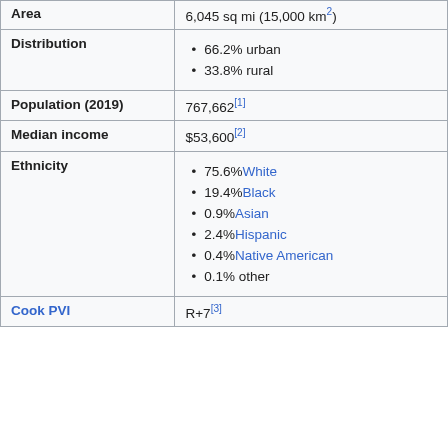| Field | Value |
| --- | --- |
| Area | 6,045 sq mi (15,000 km²) |
| Distribution | 66.2% urban
33.8% rural |
| Population (2019) | 767,662[1] |
| Median income | $53,600[2] |
| Ethnicity | 75.6% White
19.4% Black
0.9% Asian
2.4% Hispanic
0.4% Native American
0.1% other |
| Cook PVI | R+7[3] |